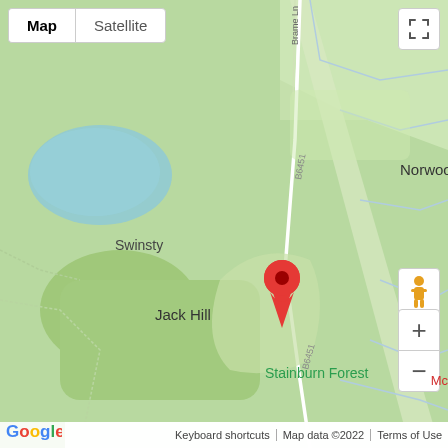[Figure (map): Google Map showing Jack Hill area with Norwood to the north, Swinsty to the west, Stainburn Forest to the south. A red location pin marks Jack Hill and a green pin marks Stainburn Forest. Road B6451 runs vertically through the map. Brame Ln is labeled near the top. The area is shown with green terrain and a water body (reservoir) visible top-left.]
Map
Satellite
Norwood
Swinsty
Jack Hill
Stainburn Forest
Keyboard shortcuts | Map data ©2022 | Terms of Use